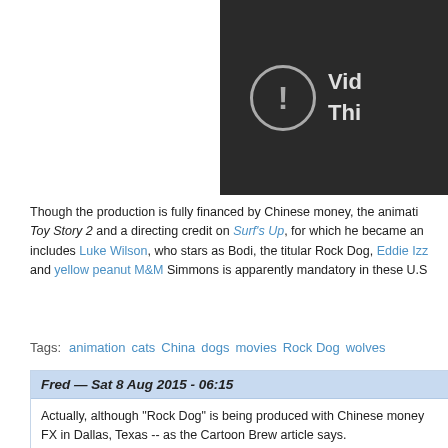[Figure (screenshot): Video player error screen with dark background, exclamation mark circle icon, and partial text 'Vid...' and 'Thi...']
Though the production is fully financed by Chinese money, the animati... Toy Story 2 and a directing credit on Surf's Up, for which he became an... includes Luke Wilson, who stars as Bodi, the titular Rock Dog, Eddie Izz... and yellow peanut M&M Simmons is apparently mandatory in these U.S...
Tags: animation  cats  China  dogs  movies  Rock Dog  wolves
Fred — Sat 8 Aug 2015 - 06:15
Actually, although "Rock Dog" is being produced with Chinese money... FX in Dallas, Texas -- as the Cartoon Brew article says.